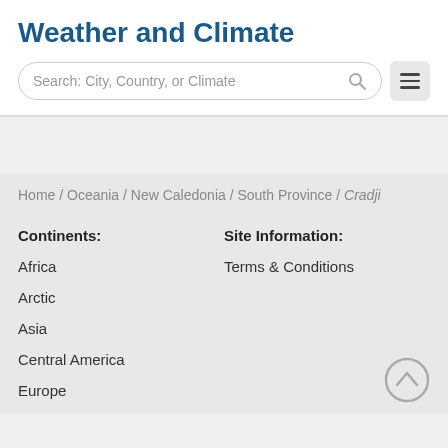Weather and Climate
[Figure (screenshot): Search bar with placeholder text 'Search: City, Country, or Climate' and a hamburger menu button]
Home / Oceania / New Caledonia / South Province / Cradji
Continents:
Site Information:
Africa
Terms & Conditions
Arctic
Asia
Central America
Europe